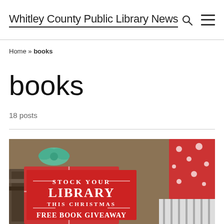Whitley County Public Library News
Home » books
books
18 posts
[Figure (photo): Promotional image showing wrapped Christmas presents with books in the background and a red sign reading 'STOCK YOUR LIBRARY THIS CHRISTMAS FREE BOOK GIVEAWAY']